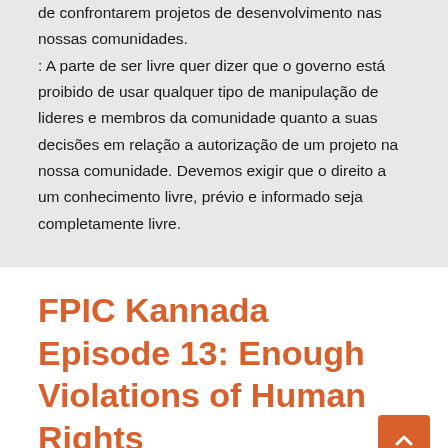de confrontarem projetos de desenvolvimento nas nossas comunidades.
: A parte de ser livre quer dizer que o governo está proibido de usar qualquer tipo de manipulação de lideres e membros da comunidade quanto a suas decisões em relação a autorização de um projeto na nossa comunidade. Devemos exigir que o direito a um conhecimento livre, prévio e informado seja completamente livre.
FPIC Kannada Episode 13: Enough Violations of Human Rights